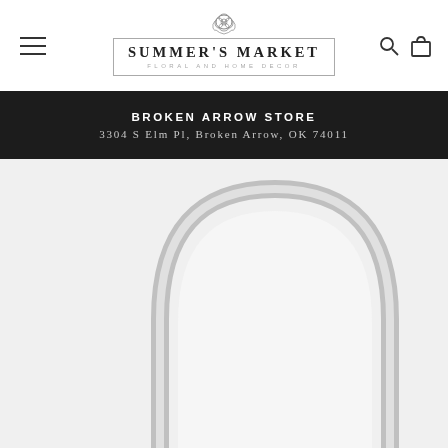[Figure (logo): Summer's Market Floral and Home Decor logo with flower emblem and bordered text]
BROKEN ARROW STORE
3304 S Elm Pl, Broken Arrow, OK 74011
[Figure (photo): Arched silver/chrome metal framed mirror, floor-length, showing the upper arch portion on a white background]